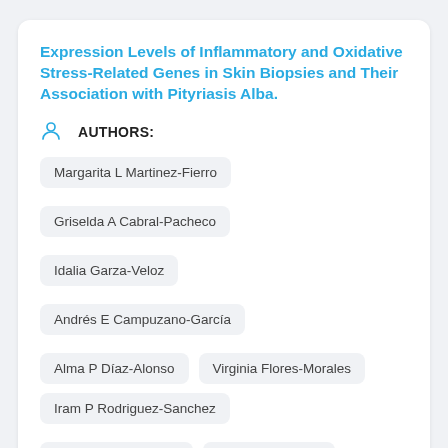Expression Levels of Inflammatory and Oxidative Stress-Related Genes in Skin Biopsies and Their Association with Pityriasis Alba.
AUTHORS:
Margarita L Martinez-Fierro
Griselda A Cabral-Pacheco
Idalia Garza-Veloz
Andrés E Campuzano-García
Alma P Díaz-Alonso
Virginia Flores-Morales
Iram P Rodriguez-Sanchez
Ivan Delgado-Enciso
Jorge Rios-Jasso
Medicina (Kaunas) 2020 Jul 17;56(7). Epub 2020 Jul 17.
Molecular Medicine Laboratory, Doctorado en Ciencias